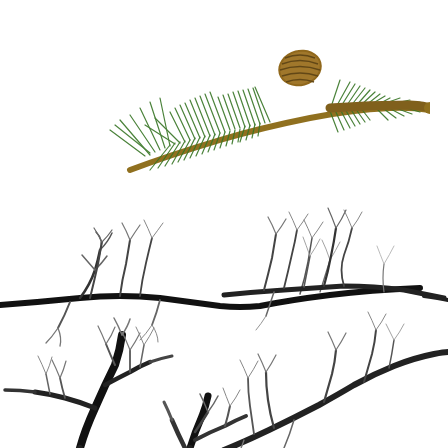[Figure (photo): A pine branch with needles and a pine cone, photographed on a white background, positioned in the upper right area of the page.]
[Figure (illustration): Five silhouette illustrations of bare tree branches with small twigs, arranged in a 2x2 grid plus one partial branch at the bottom center, on a white background. The branches range from thick black trunks tapering to fine gray twigs.]